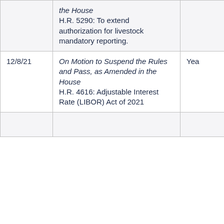| Date | Description | Vote | Result |
| --- | --- | --- | --- |
|  | the House
H.R. 5290: To extend authorization for livestock mandatory reporting. |  |  |
| 12/8/21 | On Motion to Suspend the Rules and Pass, as Amended in the House
H.R. 4616: Adjustable Interest Rate (LIBOR) Act of 2021 | Yea | Passed |
|  |  |  |  |